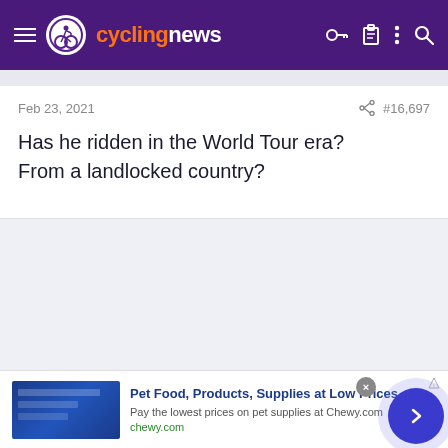cyclingnews
Feb 23, 2021
#16,697
Has he ridden in the World Tour era?
From a landlocked country?
[Figure (advertisement): Chewy.com pet supplies advertisement with blue banner image, title: Pet Food, Products, Supplies at Low Prices -, description: Pay the lowest prices on pet supplies at Chewy.com, domain: chewy.com]